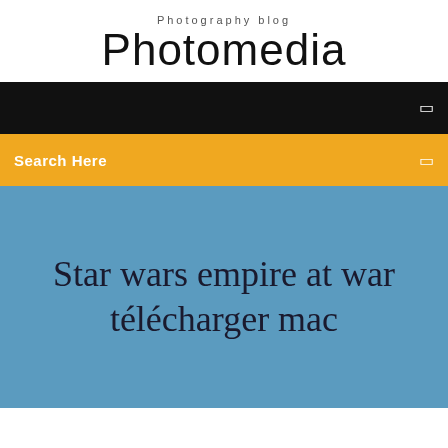Photography blog
Photomedia
[Figure (screenshot): Black navigation bar with a small white icon on the right]
[Figure (screenshot): Gold/amber search bar with 'Search Here' text in white on the left and a small white icon on the right]
Star wars empire at war télécharger mac